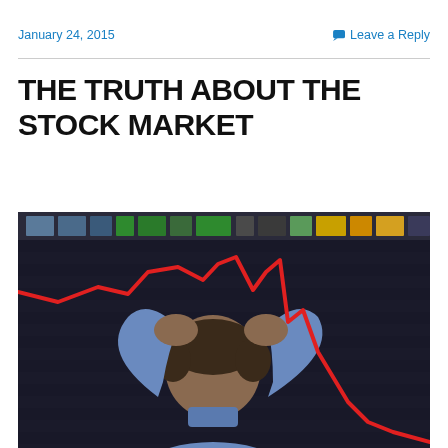January 24, 2015   Leave a Reply
THE TRUTH ABOUT THE STOCK MARKET
[Figure (photo): Man in blue shirt holding his head with both hands, viewed from behind, in front of a large stock market display board showing a red downward-trending line chart.]